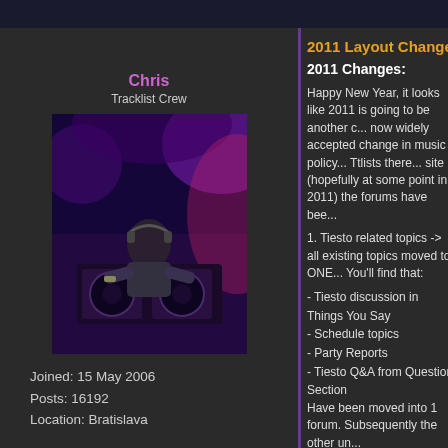Chris
Tracklist Crew
[Figure (photo): DJ at mixing console with purple/pink stage lighting]
Joined: 15 May 2006
Posts: 16192
Location: Bratislava
2011 Layout Change
2011 Changes:
Happy New Year, it looks like 2011 is going to be another c... now widely accepted change in music policy... Ttlists there... site (hopefully at some point in 2011) the forums have bee...
1. Tiesto related topics -> all existing topics moved to ONE... You'll find that:
- Tiesto discussion in Things You Say
- Schedule topics
- Party Reports
- Tiesto Q&A from Question Section
Have been moved into 1 forum. Subsequently the other un...
Important sticky topics from those sections in brackets:
- 2011 Schedule Topic (originally in A New Adventure)
- Las Vegas Residency Topic (originally in A New Adventur...
No Tiesto related topics/posts have been deleted - if there... somewhere in the new "Things You Say" forum.
2. Non-Tiesto related topics (dirty sticky floors + Question b... discussion thread.
2a. The popular topic "What are you listening to now?" is n... tunes rather than a general off-topic). All other Dirty Stick...